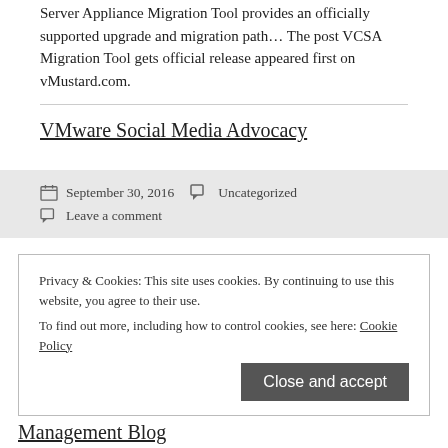Server Appliance Migration Tool provides an officially supported upgrade and migration path… The post VCSA Migration Tool gets official release appeared first on vMustard.com.
VMware Social Media Advocacy
September 30, 2016   Uncategorized
Leave a comment
Privacy & Cookies: This site uses cookies. By continuing to use this website, you agree to their use. To find out more, including how to control cookies, see here: Cookie Policy
Close and accept
Virtualization: Make an informed decision:
Distributed vs Simple Architecture – VMware Cloud
Management Blog